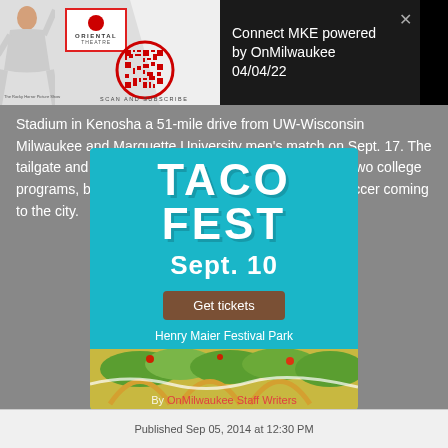[Figure (screenshot): Oriental Theatre advertisement with woman posing, logo with red border, QR code circle, and 'SCAN AND SUBSCRIBE' text]
Connect MKE powered by OnMilwaukee 04/04/22
Stadium in Kenosha a 51-mile drive from UW-Wisconsin Milwaukee and Marquette University men's match on Sept. 17. The tailgate and match is designed to not only support the two college programs, but to display Milwaukee's interest in pro-soccer coming to the city.
[Figure (infographic): Taco Fest advertisement overlay with 'TACO FEST Sept. 10' in large text, 'Get tickets' button, 'Henry Maier Festival Park' text, and taco food image at bottom]
By OnMilwaukee Staff Writers
Published Sep 05, 2014 at 12:30 PM